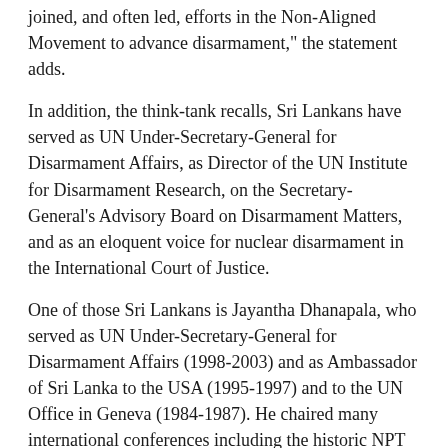joined, and often led, efforts in the Non-Aligned Movement to advance disarmament," the statement adds.
In addition, the think-tank recalls, Sri Lankans have served as UN Under-Secretary-General for Disarmament Affairs, as Director of the UN Institute for Disarmament Research, on the Secretary-General's Advisory Board on Disarmament Matters, and as an eloquent voice for nuclear disarmament in the International Court of Justice.
One of those Sri Lankans is Jayantha Dhanapala, who served as UN Under-Secretary-General for Disarmament Affairs (1998-2003) and as Ambassador of Sri Lanka to the USA (1995-1997) and to the UN Office in Geneva (1984-1987). He chaired many international conferences including the historic NPT Review and Extension Conference of 1995. Besides, he chaired the Nobel Peace Prize-winning Pugwash Conferences on Science and World Affairs for ten years until August 2017. (Click here for his articles published by IDN.)